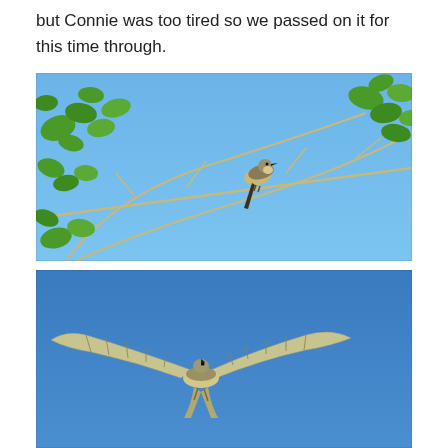but Connie was too tired so we passed on it for this time through.
[Figure (photo): A bird (Western Kingbird) perched on thin bare branches among green leaves against a clear blue sky.]
[Figure (photo): A bird (Western Kingbird) in flight with wings spread wide against a deep blue sky, viewed from below.]